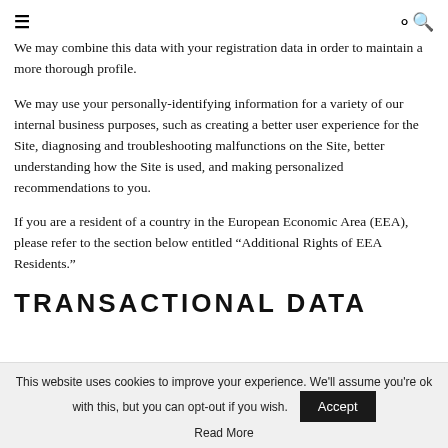≡  🔍
We may combine this data with your registration data in order to maintain a more thorough profile.
We may use your personally-identifying information for a variety of our internal business purposes, such as creating a better user experience for the Site, diagnosing and troubleshooting malfunctions on the Site, better understanding how the Site is used, and making personalized recommendations to you.
If you are a resident of a country in the European Economic Area (EEA), please refer to the section below entitled “Additional Rights of EEA Residents.”
TRANSACTIONAL DATA
This website uses cookies to improve your experience. We'll assume you're ok with this, but you can opt-out if you wish.
Read More